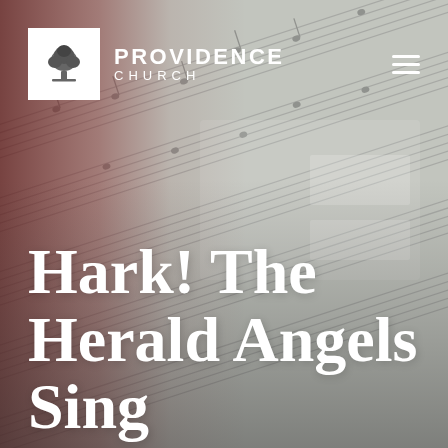[Figure (photo): Blurred background photo of sheet music with a red/dark overlay on the left side and a gray-white music score visible across the image.]
PROVIDENCE CHURCH
Hark! The Herald Angels Sing